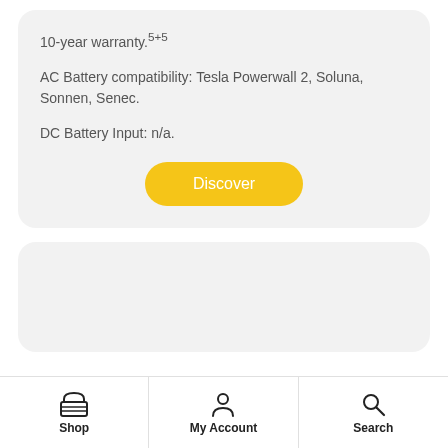10-year warranty.5+5
AC Battery compatibility: Tesla Powerwall 2, Soluna, Sonnen, Senec.
DC Battery Input: n/a.
[Figure (screenshot): Yellow 'Discover' button with rounded pill shape on a light gray card background]
[Figure (screenshot): Second light gray rounded card, empty content area]
Shop  My Account  Search